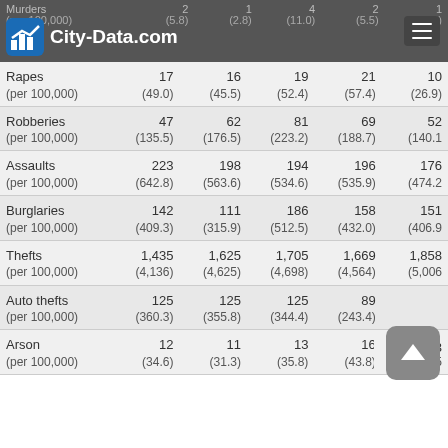City-Data.com
| Crime type | Col1 | Col2 | Col3 | Col4 | Col5 |
| --- | --- | --- | --- | --- | --- |
| Murders (per 100,000) | 2 (5.8) | 1 (2.8) | 4 (11.0) | 2 (5.5) | 1 (2.0) |
| Rapes (per 100,000) | 17 (49.0) | 16 (45.5) | 19 (52.4) | 21 (57.4) | 10 (26.9) |
| Robberies (per 100,000) | 47 (135.5) | 62 (176.5) | 81 (223.2) | 69 (188.7) | 52 (140.1) |
| Assaults (per 100,000) | 223 (642.8) | 198 (563.6) | 194 (534.6) | 196 (535.9) | 176 (474.2) |
| Burglaries (per 100,000) | 142 (409.3) | 111 (315.9) | 186 (512.5) | 158 (432.0) | 151 (406.9) |
| Thefts (per 100,000) | 1,435 (4,136) | 1,625 (4,625) | 1,705 (4,698) | 1,669 (4,564) | 1,858 (5,006) |
| Auto thefts (per 100,000) | 125 (360.3) | 125 (355.8) | 125 (344.4) | 89 (243.4) | 113 (4.5) |
| Arson (per 100,000) | 12 (34.6) | 11 (31.3) | 13 (35.8) | 16 (43.8) | 11 (29.6) |